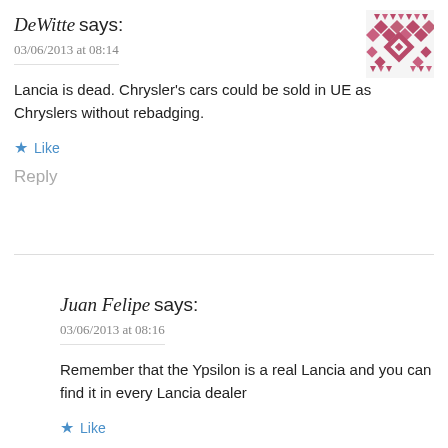DeWitte says:
03/06/2013 at 08:14
[Figure (illustration): Decorative geometric pattern avatar in pink/maroon colors]
Lancia is dead. Chrysler's cars could be sold in UE as Chryslers without rebadging.
★ Like
Reply
Juan Felipe says:
03/06/2013 at 08:16
[Figure (photo): Small profile photo of a person wearing glasses]
Remember that the Ypsilon is a real Lancia and you can find it in every Lancia dealer
★ Like